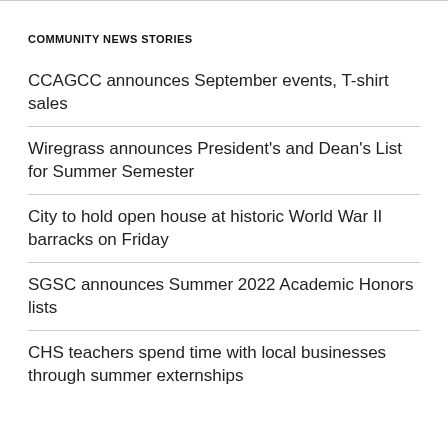COMMUNITY NEWS STORIES
CCAGCC announces September events, T-shirt sales
Wiregrass announces President's and Dean's List for Summer Semester
City to hold open house at historic World War II barracks on Friday
SGSC announces Summer 2022 Academic Honors lists
CHS teachers spend time with local businesses through summer externships